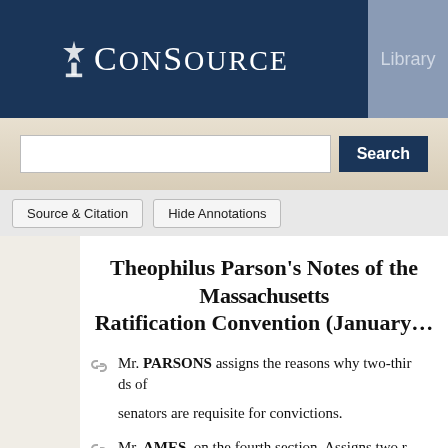ConSource — Library
Theophilus Parson's Notes of the Massachusetts Ratification Convention (January…)
Mr. PARSONS assigns the reasons why two-thirds of senators are requisite for convictions.
Mr. AMES, on the fourth section. Assigns two reasons in favor of that section. 2. As the first Congress will be chosen pursuant to State regulations, and therefore equ…